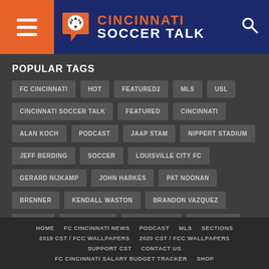Cincinnati Soccer Talk - hamburger menu, logo, search
POPULAR TAGS
FC CINCINNATI
HOT
FEATURED2
MLS
USL
CINCINNATI SOCCER TALK
FEATURED
CINCINNATI
ALAN KOCH
PODCAST
JAAP STAM
NIPPERT STADIUM
JEFF BERDING
SOCCER
LOUISVILLE CITY FC
GERARD NIJKAMP
JOHN HARKES
PAT NOONAN
BRENNER
KENDALL WASTON
BRANDON VAZQUEZ
REPORT
ALLAN CRUZ
FANENDO ADI
YUYA KUBO
NICK HAGGLUND
AUSTIN BERRY
JÜRGEN LOCADIA
LUCHO ACOSTA
JIMMY MCLAUGHLIN
HOME | FC CINCINNATI NEWS | PODCAST | MLS | SECTIONS | 2019 CST / FCC WALLPAPERS | 2020 CST / FCC WALLPAPERS | SUPPORT CST | CONTACT US | FC CINCINNATI SALARY BUDGET TRACKER | SHOP